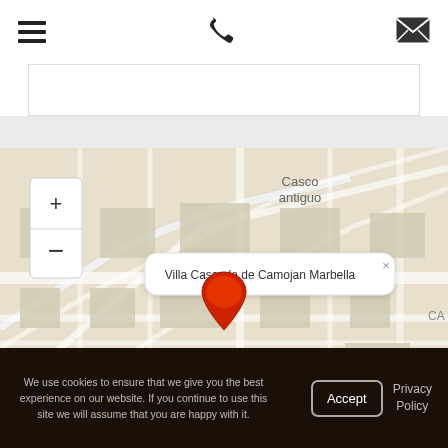Navigation header with hamburger menu, phone icon, and email icon
[Figure (map): Street map showing Marbella area with 'Casco antiguo' label, zoom controls (+/-), a popup tooltip reading 'Villa Cascada de Camojan Marbella', a red map pin marker, and partial label 'CA' on right edge]
We use cookies to ensure that we give you the best experience on our website. If you continue to use this site we will assume that you are happy with it.
Accept
Privacy Policy